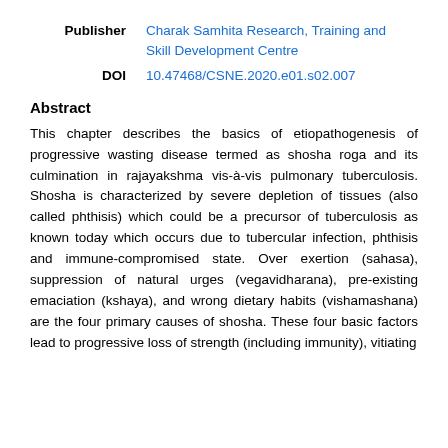| Publisher | Charak Samhita Research, Training and Skill Development Centre |
| DOI | 10.47468/CSNE.2020.e01.s02.007 |
Abstract
This chapter describes the basics of etiopathogenesis of progressive wasting disease termed as shosha roga and its culmination in rajayakshma vis-à-vis pulmonary tuberculosis. Shosha is characterized by severe depletion of tissues (also called phthisis) which could be a precursor of tuberculosis as known today which occurs due to tubercular infection, phthisis and immune-compromised state. Over exertion (sahasa), suppression of natural urges (vegavidharana), pre-existing emaciation (kshaya), and wrong dietary habits (vishamashana) are the four primary causes of shosha. These four basic factors lead to progressive loss of strength (including immunity), vitiating